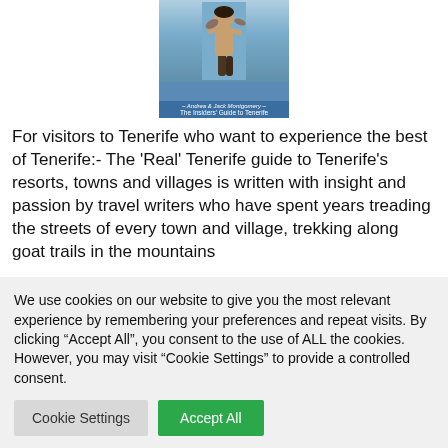[Figure (photo): Book cover showing a shirtless man carrying something while wading through water, with blue water background. Bottom of image shows text 'Andrea & Jack Montgomery - The Insiders Guide to Tenerife' on a blue bar.]
For visitors to Tenerife who want to experience the best of Tenerife:- The 'Real' Tenerife guide to Tenerife's resorts, towns and villages is written with insight and passion by travel writers who have spent years treading the streets of every town and village, trekking along goat trails in the mountains
We use cookies on our website to give you the most relevant experience by remembering your preferences and repeat visits. By clicking "Accept All", you consent to the use of ALL the cookies. However, you may visit "Cookie Settings" to provide a controlled consent.
Cookie Settings
Accept All